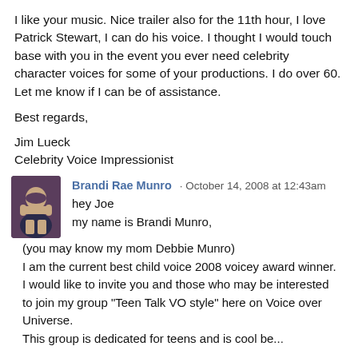I like your music. Nice trailer also for the 11th hour, I love Patrick Stewart, I can do his voice. I thought I would touch base with you in the event you ever need celebrity character voices for some of your productions. I do over 60. Let me know if I can be of assistance.
Best regards,
Jim Lueck
Celebrity Voice Impressionist
Brandi Rae Munro · October 14, 2008 at 12:43am
hey Joe
my name is Brandi Munro,
(you may know my mom Debbie Munro)
I am the current best child voice 2008 voicey award winner.
I would like to invite you and those who may be interested
to join my group "Teen Talk VO style" here on Voice over Universe.
This group is dedicated for teens and is cool be...